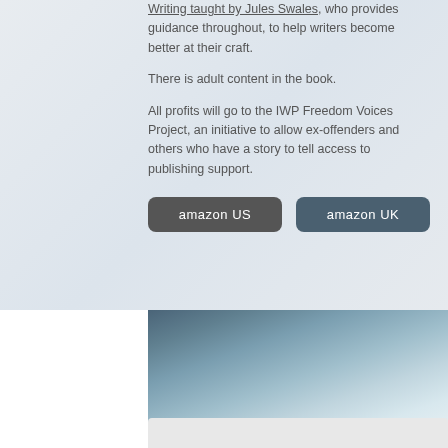Writing taught by Jules Swales, who provides guidance throughout, to help writers become better at their craft.
There is adult content in the book.
All profits will go to the IWP Freedom Voices Project, an initiative to allow ex-offenders and others who have a story to tell access to publishing support.
[Figure (other): Two buttons labeled 'amazon US' and 'amazon UK' on a light grey-blue background]
[Figure (other): Blue-grey gradient decorative band]